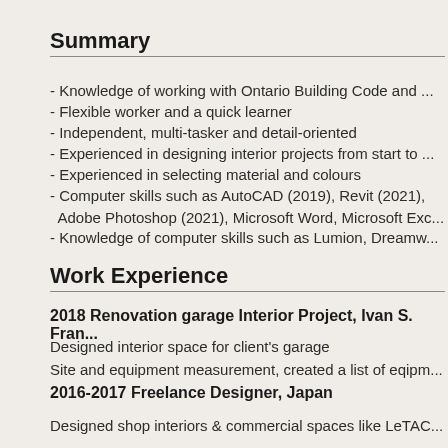Summary
- Knowledge of working with Ontario Building Code and ...
- Flexible worker and a quick learner
- Independent, multi-tasker and detail-oriented
- Experienced in designing interior projects from start to ...
- Experienced in selecting material and colours
- Computer skills such as AutoCAD (2019), Revit (2021), Adobe Photoshop (2021), Microsoft Word, Microsoft Exc...
- Knowledge of computer skills such as Lumion, Dreamw...
Work Experience
2018 Renovation garage Interior Project, Ivan S. Fran...
Designed interior space for client's garage
Site and equipment measurement, created a list of eqipm...
2016-2017 Freelance Designer, Japan
Designed shop interiors & commercial spaces like LeTAC...